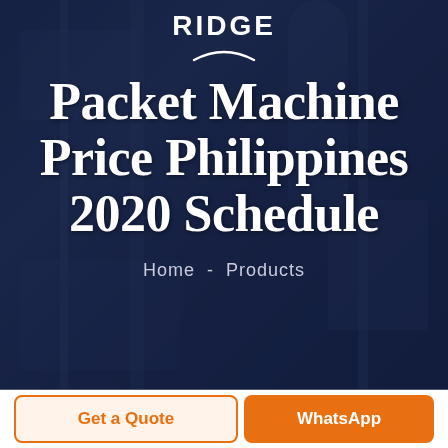[Figure (photo): Dark blue-tinted industrial machinery background with packaging machines visible. Hero banner image with overlay.]
RIDGE
Packet Machine Price Philippines 2020 Schedule
Home - Products
Get a Quote
WhatsApp